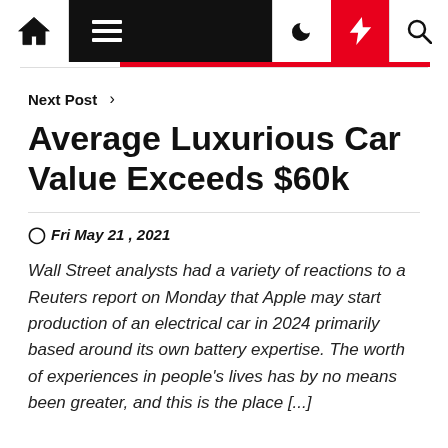Navigation bar with home, menu, moon, bolt, and search icons
Next Post >
Average Luxurious Car Value Exceeds $60k
Fri May 21 , 2021
Wall Street analysts had a variety of reactions to a Reuters report on Monday that Apple may start production of an electrical car in 2024 primarily based around its own battery expertise. The worth of experiences in people's lives has by no means been greater, and this is the place [...]